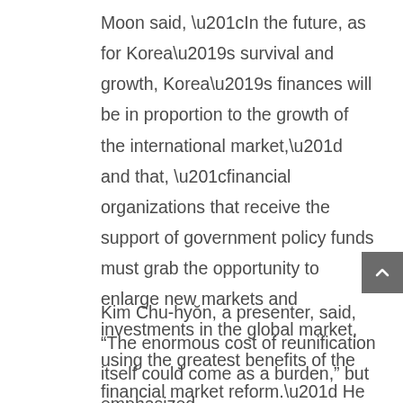Moon said, “In the future, as for Korea’s survival and growth, Korea’s finances will be in proportion to the growth of the international market,” and that, “financial organizations that receive the support of government policy funds must grab the opportunity to enlarge new markets and investments in the global market, using the greatest benefits of the financial market reform.” He suggested Paraguay as such a market of opportunity.
Kim Chu-hyŏn, a presenter, said, “The enormous cost of reunification itself could come as a burden,” but emphasized,